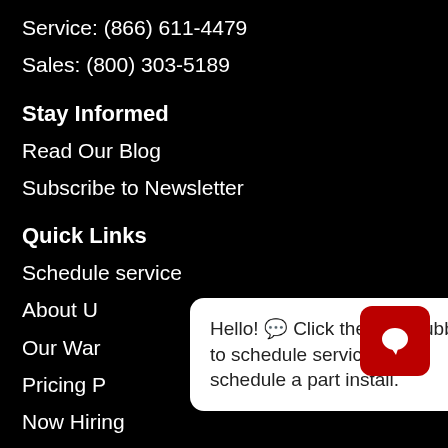Service: (866) 611-4479
Sales: (800) 303-5189
Stay Informed
Read Our Blog
Subscribe to Newsletter
Quick Links
Schedule service
About Us
Our War[ranty]
Pricing P[age]
Now Hiring
Hello! 💬 Click the chat bubble to schedule service or schedule a part install.